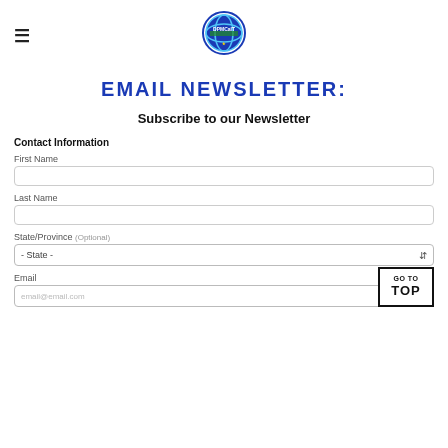≡ [DPMCaIT logo]
EMAIL NEWSLETTER:
Subscribe to our Newsletter
Contact Information
First Name
Last Name
State/Province (Optional)
Email